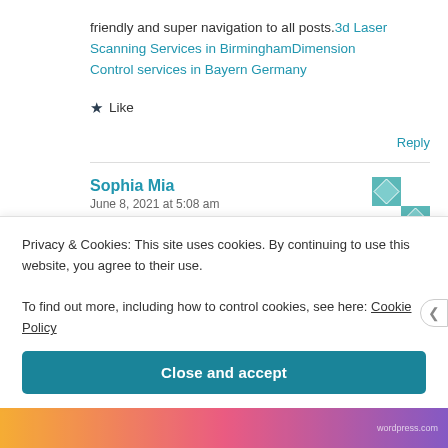friendly and super navigation to all posts. 3d Laser Scanning Services in BirminghamDimension Control services in Bayern Germany
★ Like
Reply
Sophia Mia
June 8, 2021 at 5:08 am
Privacy & Cookies: This site uses cookies. By continuing to use this website, you agree to their use.
To find out more, including how to control cookies, see here: Cookie Policy
Close and accept